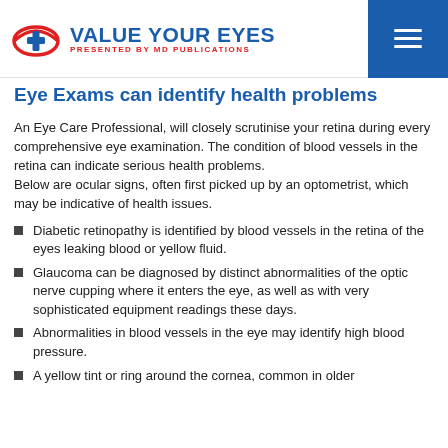VALUE YOUR EYES — PRESENTED BY MD PUBLICATIONS
Eye Exams can identify health problems
An Eye Care Professional, will closely scrutinise your retina during every comprehensive eye examination. The condition of blood vessels in the retina can indicate serious health problems.
Below are ocular signs, often first picked up by an optometrist, which may be indicative of health issues.
Diabetic retinopathy is identified by blood vessels in the retina of the eyes leaking blood or yellow fluid.
Glaucoma can be diagnosed by distinct abnormalities of the optic nerve cupping where it enters the eye, as well as with very sophisticated equipment readings these days.
Abnormalities in blood vessels in the eye may identify high blood pressure.
A yellow tint or ring around the cornea, common in older